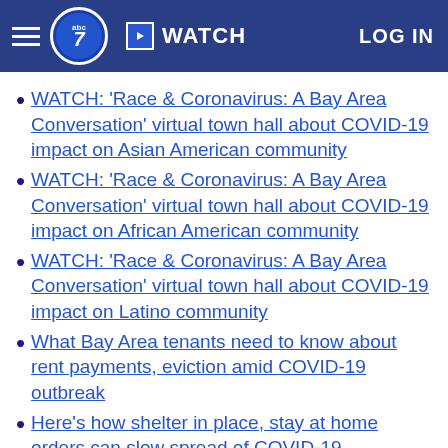ABC7 — WATCH — LOG IN
WATCH: 'Race & Coronavirus: A Bay Area Conversation' virtual town hall about COVID-19 impact on Asian American community
WATCH: 'Race & Coronavirus: A Bay Area Conversation' virtual town hall about COVID-19 impact on African American community
WATCH: 'Race & Coronavirus: A Bay Area Conversation' virtual town hall about COVID-19 impact on Latino community
What Bay Area tenants need to know about rent payments, eviction amid COVID-19 outbreak
Here's how shelter in place, stay at home orders can slow spread of COVID-19
Symptoms, prevention, and how to prepare for a